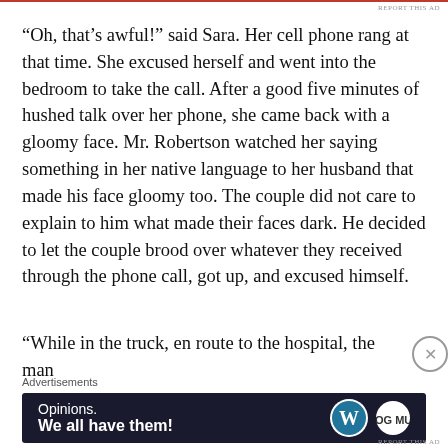REPORT THIS AD
“Oh, that’s awful!” said Sara. Her cell phone rang at that time. She excused herself and went into the bedroom to take the call. After a good five minutes of hushed talk over her phone, she came back with a gloomy face. Mr. Robertson watched her saying something in her native language to her husband that made his face gloomy too. The couple did not care to explain to him what made their faces dark. He decided to let the couple brood over whatever they received through the phone call, got up, and excused himself.
“While in the truck, en route to the hospital, the man
[Figure (other): Advertisement banner with dark navy background showing 'Opinions. We all have them!' text with WordPress logo and another circular logo]
REPORT THIS AD